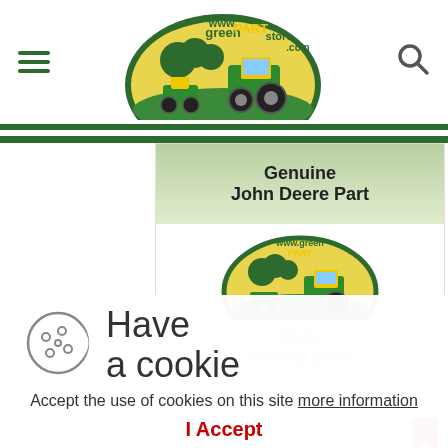www.greenPARTstore.com — hamburger menu, logo, search icon
[Figure (logo): greenPARTstore.com logo with green tractor and lawn mower on yellow/green background]
[Figure (photo): Genuine John Deere Part product image placeholder with greenPARTstore.com logo and 'Photo Coming Soon' text]
Have a cookie
Accept the use of cookies on this site more information
I Accept
John Deere Deck Drive Belt - TCA20591